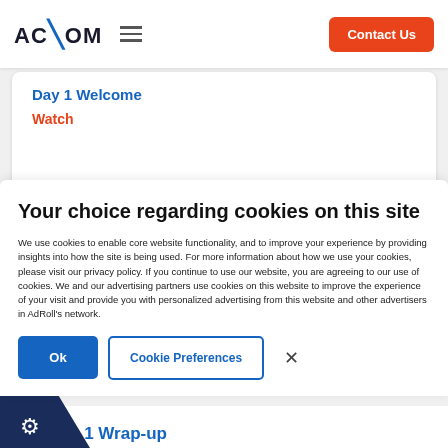Acxiom | Contact Us
Day 1 Welcome
Watch
Your choice regarding cookies on this site
We use cookies to enable core website functionality, and to improve your experience by providing insights into how the site is being used. For more information about how we use your cookies, please visit our privacy policy. If you continue to use our website, you are agreeing to our use of cookies. We and our advertising partners use cookies on this website to improve the experience of your visit and provide you with personalized advertising from this website and other advertisers in AdRoll's network.
Ok | Cookie Preferences | ×
y 1 Wrap-up